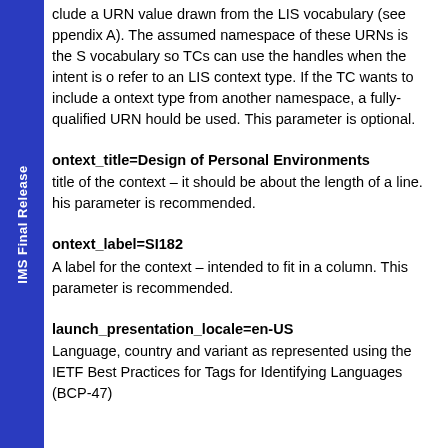clude a URN value drawn from the LIS vocabulary (see ppendix A). The assumed namespace of these URNs is the S vocabulary so TCs can use the handles when the intent is o refer to an LIS context type. If the TC wants to include a ontext type from another namespace, a fully-qualified URN hould be used. This parameter is optional.
ontext_title=Design of Personal Environments
title of the context – it should be about the length of a line. his parameter is recommended.
ontext_label=SI182
A label for the context – intended to fit in a column. This parameter is recommended.
launch_presentation_locale=en-US
Language, country and variant as represented using the IETF Best Practices for Tags for Identifying Languages (BCP-47)